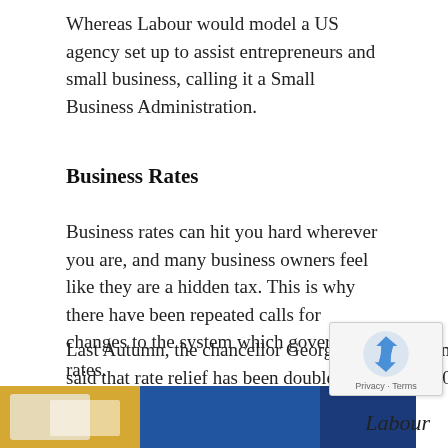Whereas Labour would model a US agency set up to assist entrepreneurs and small business, calling it a Small Business Administration.
Business Rates
Business rates can hit you hard wherever you are, and many business owners feel like they are a hidden tax. This is why there have been repeated calls for changes to the system which governs rates.
Last Autumn, the chancellor George Osborne promised a review on the rates system, and since then has said that rate relief has been doubled until April 2016.
[Figure (photo): Partial image visible at bottom of page showing what appears to be documents or printed materials in blue and gold tones]
Labour